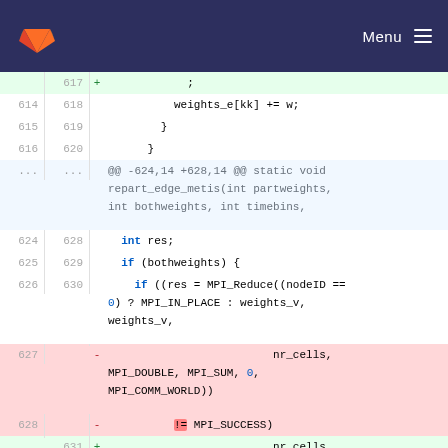Menu
Diff view of source code showing changes to repart_edge_metis function. Lines 614-628 old, 617-631 new. Changes include removal of nr_cells, MPI_DOUBLE, MPI_SUM, 0, MPI_COMM_WORLD)) != MPI_SUCCESS) and addition of equivalent lines with reordered != operator.